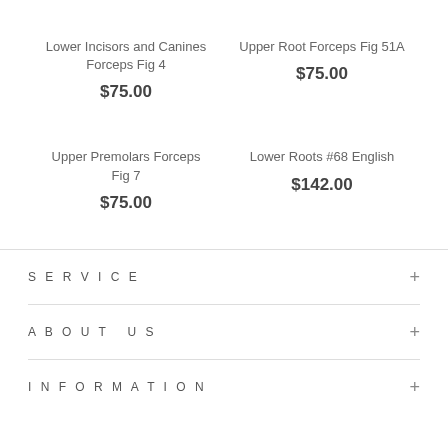Lower Incisors and Canines Forceps Fig 4
$75.00
Upper Root Forceps Fig 51A
$75.00
Upper Premolars Forceps Fig 7
$75.00
Lower Roots #68 English
$142.00
SERVICE
ABOUT US
INFORMATION